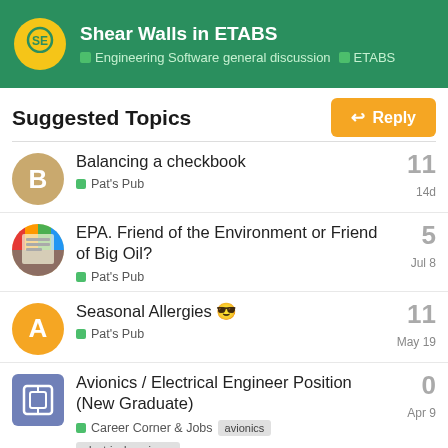Shear Walls in ETABS | Engineering Software general discussion | ETABS
Suggested Topics
Balancing a checkbook | Pat's Pub | 11 replies | 14d
EPA. Friend of the Environment or Friend of Big Oil? | Pat's Pub | 5 replies | Jul 8
Seasonal Allergies 😎 | Pat's Pub | 11 replies | May 19
Avionics / Electrical Engineer Position (New Graduate) | Career Corner & Jobs | tags: avionics, electrical-engineer | 0 replies | Apr 9